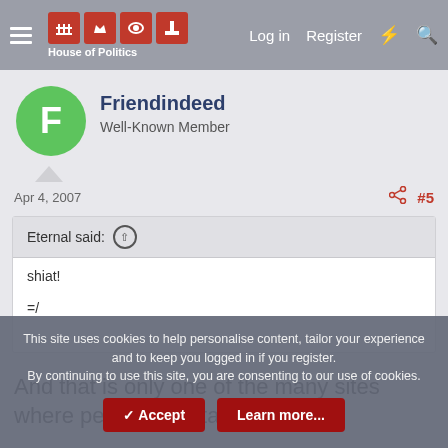House of Politics — Log in  Register
Friendindeed
Well-Known Member
Apr 4, 2007  #5
Eternal said:
shiat!

=/
And that is only one of the many sites where people are starting
This site uses cookies to help personalise content, tailor your experience and to keep you logged in if you register.
By continuing to use this site, you are consenting to our use of cookies.
Accept  Learn more...